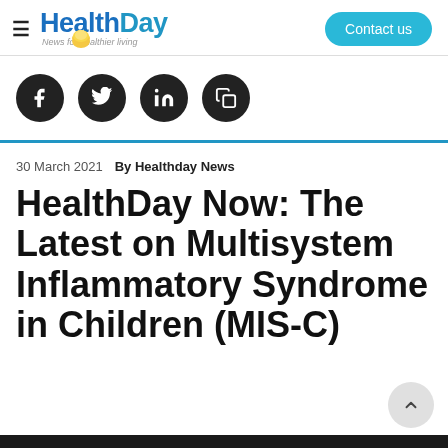HealthDay — News for healthier living | Contact us
[Figure (other): Social media share icons: Facebook, Twitter, LinkedIn, Copy]
30 March 2021   By Healthday News
HealthDay Now: The Latest on Multisystem Inflammatory Syndrome in Children (MIS-C)